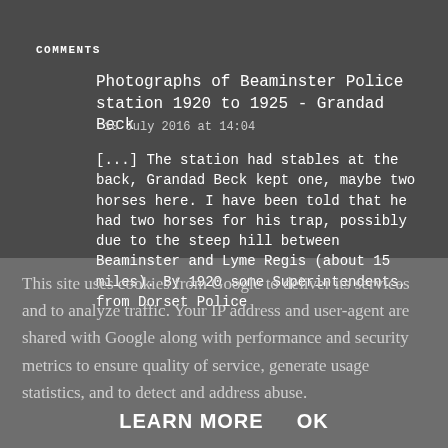COMMENTS
Photographs of Beaminster Police station 1920 to 1925 - Grandad Beck
10 July 2016 at 14:04
[...] The station had stables at the back, Grandad Beck kept one, maybe two horses here. I have been told that he had two horses for his trap, possibly due to the steep hill between Beaminster and Lyme Regis (about 15 miles). By 1920 some Superintendents, from Dorset Police
This site uses cookies from Google to deliver its services and to analyze traffic. Your IP address and user-agent are shared with Google along with performance and security metrics to ensure quality of service, generate usage statistics, and to detect and address abuse.
LEARN MORE   OK